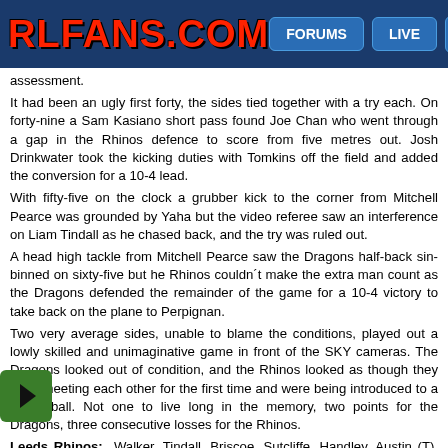RLFANS.COM — FORUMS — LIVE
assessment.
It had been an ugly first forty, the sides tied together with a try each. On forty-nine a Sam Kasiano short pass found Joe Chan who went through a gap in the Rhinos defence to score from five metres out. Josh Drinkwater took the kicking duties with Tomkins off the field and added the conversion for a 10-4 lead.
With fifty-five on the clock a grubber kick to the corner from Mitchell Pearce was grounded by Yaha but the video referee saw an interference on Liam Tindall as he chased back, and the try was ruled out.
A head high tackle from Mitchell Pearce saw the Dragons half-back sin-binned on sixty-five but he Rhinos couldn´t make the extra man count as the Dragons defended the remainder of the game for a 10-4 victory to take back on the plane to Perpignan.
Two very average sides, unable to blame the conditions, played out a lowly skilled and unimaginative game in front of the SKY cameras. The Dragons looked out of condition, and the Rhinos looked as though they were meeting each other for the first time and were being introduced to a rugby ball. Not one to live long in the memory, two points for the Dragons, three consecutive losses for the Rhinos.
Leeds Rhinos: Walker, Tindall, Briscoe, Sutcliffe, Handley, Austin (T), Sezer, Oledzki, Leeming, Prior, Mellor, Gannon, Tetevano. Subs: Smith, Dwyer, Donaldson, O´Connor.
Catalans Dragons: Tomkins, Yaha (T), Langi, Whare, Davies, Drinkwater (G), Pearce (SB on 65), Dezaria, McIlorum, McMeeken, Whitley, Jullien, Garcia. Subs: Seguir, May, Chan (T), Kasiano.